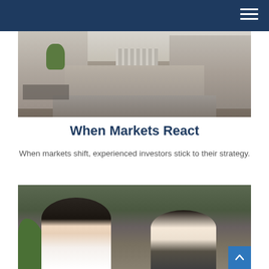[Figure (photo): Street-level view of a financial district with classical columned buildings, iron fences, flags, and a tree-lined street.]
When Markets React
When markets shift, experienced investors stick to their strategy.
[Figure (photo): Two people, likely an older couple, looking at a laptop together indoors near plants.]